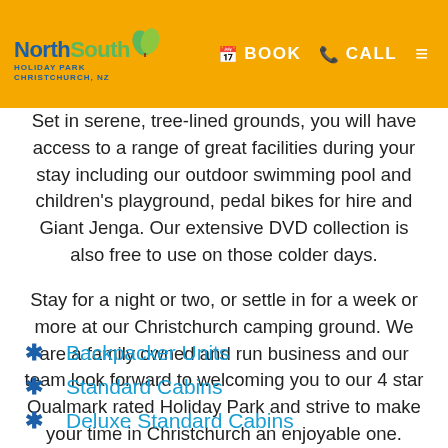NorthSouth Holiday Park Christchurch NZ | BOOK | CALL
Set in serene, tree-lined grounds, you will have access to a range of great facilities during your stay including our outdoor swimming pool and children's playground, pedal bikes for hire and Giant Jenga. Our extensive DVD collection is also free to use on those colder days.
Stay for a night or two, or settle in for a week or more at our Christchurch camping ground. We are a family owned and run business and our team look forward to welcoming you to our 4 star Qualmark rated Holiday Park and strive to make your time in Christchurch an enjoyable one.
Backpacker Units
Standard Cabins
Deluxe Standard Cabins